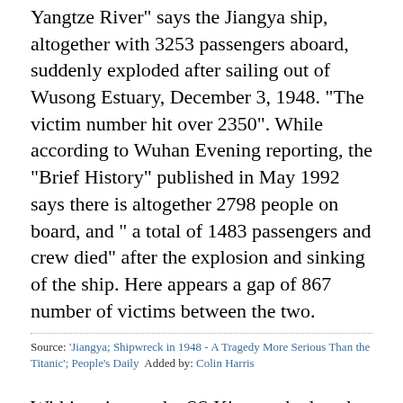Yangtze River" says the Jiangya ship, altogether with 3253 passengers aboard, suddenly exploded after sailing out of Wusong Estuary, December 3, 1948. "The victim number hit over 2350". While according to Wuhan Evening reporting, the "Brief History" published in May 1992 says there is altogether 2798 people on board, and " a total of 1483 passengers and crew died" after the explosion and sinking of the ship. Here appears a gap of 867 number of victims between the two.
Source: 'Jiangya; Shipwreck in 1948 - A Tragedy More Serious Than the Titanic'; People's Daily  Added by: Colin Harris
Within minutes the SS Kiangya had sunk in shallow water to the riverbed. Passengers on the lower decks had little chance for escape. Some 700 who managed to reach the safety of the top deck stood in cold water waisthigh, screaming for help. One hysterical woman threw her child overboard because her husband was lost; others were pushed off in the struggle for standing room.